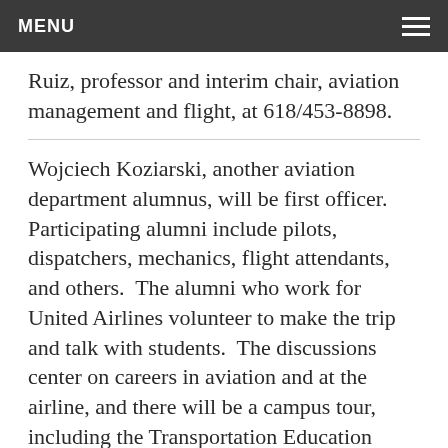MENU
Ruiz, professor and interim chair, aviation management and flight, at 618/453-8898.
Wojciech Koziarski, another aviation department alumnus, will be first officer. Participating alumni include pilots, dispatchers, mechanics, flight attendants, and others.  The alumni who work for United Airlines volunteer to make the trip and talk with students.  The discussions center on careers in aviation and at the airline, and there will be a campus tour, including the Transportation Education Center. The schedule includes, weather permitting, introductory flights in aviation flight aircraft for selected students.